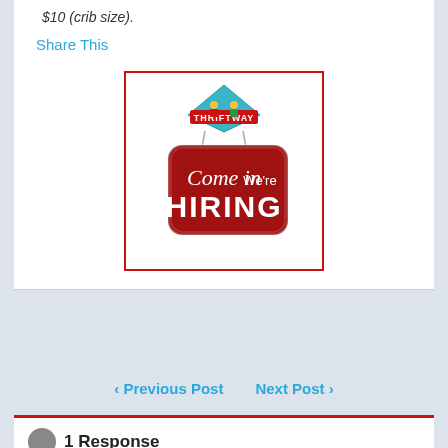$10 (crib size).
Share This
[Figure (logo): Thriftway 'Come in We're HIRING' sign — a red hanging sign with the Thriftway logo diamond at top and the text 'Come in We're HIRING' on a dark red background with white lettering.]
< Previous Post   Next Post >
1 Response